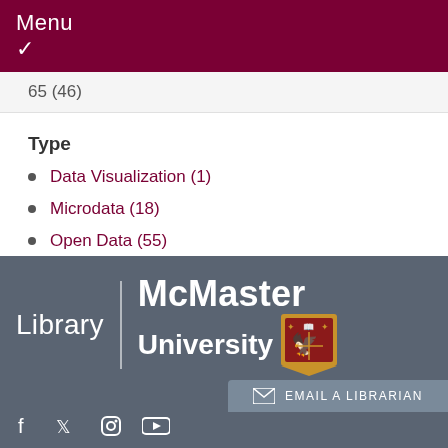Menu
65 (46)
Type
Data Visualization (1)
Microdata (18)
Open Data (55)
Statistics (41)
[Figure (logo): McMaster University Library logo with crest on dark grey background, showing 'Library | McMaster University' with university crest]
Email a Librarian
Social media icons: Facebook, Twitter, Instagram, YouTube